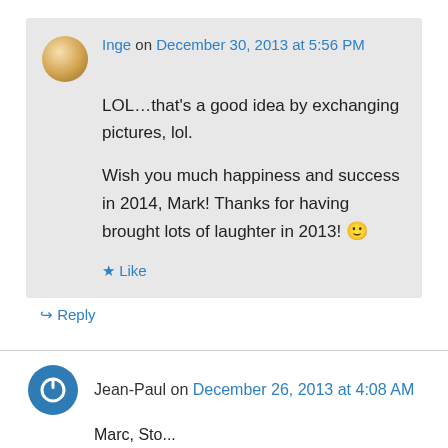Inge on December 30, 2013 at 5:56 PM
LOL…that's a good idea by exchanging pictures, lol.

Wish you much happiness and success in 2014, Mark! Thanks for having brought lots of laughter in 2013! 🙂
★ Like
↪ Reply
Jean-Paul on December 26, 2013 at 4:08 AM
Marc, Sto...